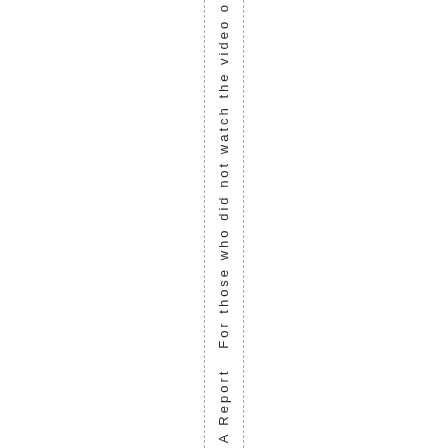A Report For those who did not watch the video o